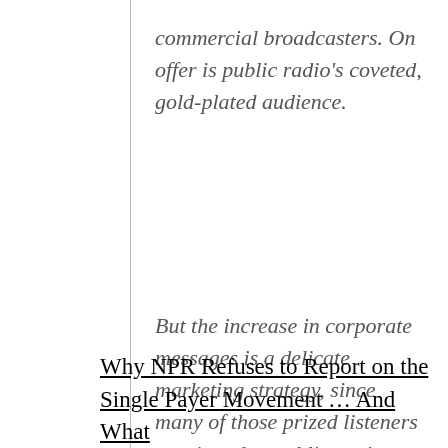commercial broadcasters. On offer is public radio's coveted, gold-plated audience.
But the increase in corporate messages is a delicate marketing strategy, since many of those prized listeners gravitated to public stations looking for the exact opposite: an escape from advertising's constant hum.
Why NPR Refuses to Report on the Single Payer Movement … And What